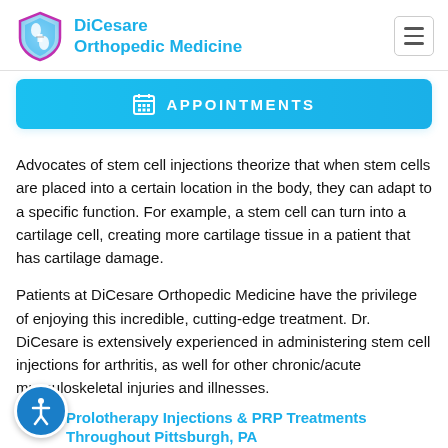DiCesare Orthopedic Medicine
APPOINTMENTS
Advocates of stem cell injections theorize that when stem cells are placed into a certain location in the body, they can adapt to a specific function. For example, a stem cell can turn into a cartilage cell, creating more cartilage tissue in a patient that has cartilage damage.
Patients at DiCesare Orthopedic Medicine have the privilege of enjoying this incredible, cutting-edge treatment. Dr. DiCesare is extensively experienced in administering stem cell injections for arthritis, as well for other chronic/acute musculoskeletal injuries and illnesses.
Prolotherapy Injections & PRP Treatments Throughout Pittsburgh, PA